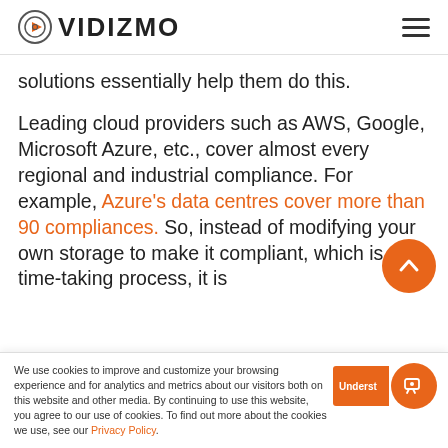VIDIZMO
solutions essentially help them do this.
Leading cloud providers such as AWS, Google, Microsoft Azure, etc., cover almost every regional and industrial compliance. For example, Azure's data centres cover more than 90 compliances. So, instead of modifying your own storage to make it compliant, which is a time-taking process, it is
We use cookies to improve and customize your browsing experience and for analytics and metrics about our visitors both on this website and other media. By continuing to use this website, you agree to our use of cookies. To find out more about the cookies we use, see our Privacy Policy.